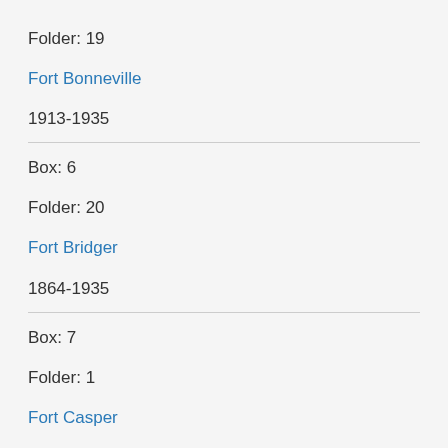Folder: 19
Fort Bonneville
1913-1935
Box: 6
Folder: 20
Fort Bridger
1864-1935
Box: 7
Folder: 1
Fort Casper
1913-1934